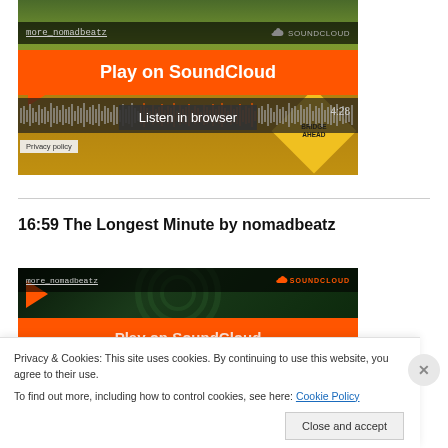[Figure (screenshot): SoundCloud embedded player showing 'more_nomadbeatz' with Play on SoundCloud button, waveform, Listen in browser button, time 4:28, and Privacy policy label over a bridge sign background]
Privacy policy
16:59 The Longest Minute by nomadbeatz
[Figure (screenshot): Second SoundCloud embedded player showing 'more_nomadbeatz' with SOUNDCLOUD logo, Play on SoundCloud button partially visible]
Privacy & Cookies: This site uses cookies. By continuing to use this website, you agree to their use.
To find out more, including how to control cookies, see here: Cookie Policy
Close and accept